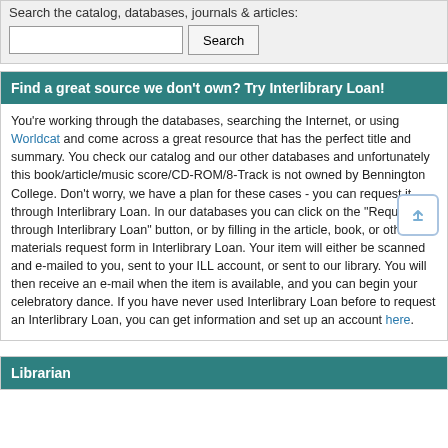Search the catalog, databases, journals & articles:
Search
Find a great source we don't own? Try Interlibrary Loan!
You're working through the databases, searching the Internet, or using Worldcat and come across a great resource that has the perfect title and summary. You check our catalog and our other databases and unfortunately this book/article/music score/CD-ROM/8-Track is not owned by Bennington College. Don't worry, we have a plan for these cases - you can request it through Interlibrary Loan. In our databases you can click on the "Request through Interlibrary Loan" button, or by filling in the article, book, or other materials request form in Interlibrary Loan. Your item will either be scanned and e-mailed to you, sent to your ILL account, or sent to our library. You will then receive an e-mail when the item is available, and you can begin your celebratory dance. If you have never used Interlibrary Loan before to request an Interlibrary Loan, you can get information and set up an account here.
Librarian